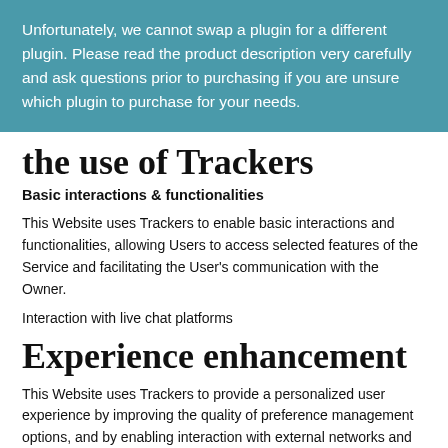Unfortunately, we cannot swap a plugin for a different plugin. Please read the product description very carefully and ask questions prior to purchasing if you are unsure which plugin to purchase for your needs.
the use of Trackers
Basic interactions & functionalities
This Website uses Trackers to enable basic interactions and functionalities, allowing Users to access selected features of the Service and facilitating the User's communication with the Owner.
Interaction with live chat platforms
Experience enhancement
This Website uses Trackers to provide a personalized user experience by improving the quality of preference management options, and by enabling interaction with external networks and platforms.
Displaying content from external platforms